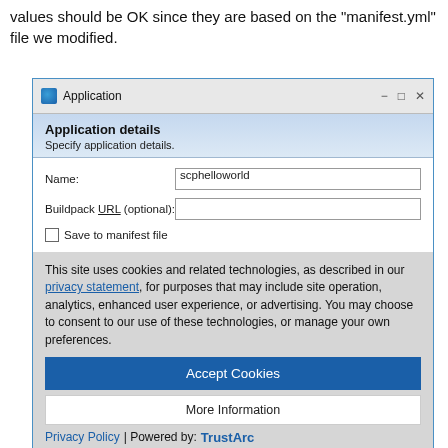values should be OK since they are based on the "manifest.yml" file we modified.
[Figure (screenshot): Application dialog window showing Application details form with Name field filled as 'scphelloworld', Buildpack URL (optional) empty field, and a 'Save to manifest file' checkbox unchecked. A cookie consent overlay appears over the dialog with text about cookies, Accept Cookies button, More Information button, Privacy Policy link, and TrustArc branding. Bottom of dialog shows Subdomain field with value scphelloworld-p1942961245.]